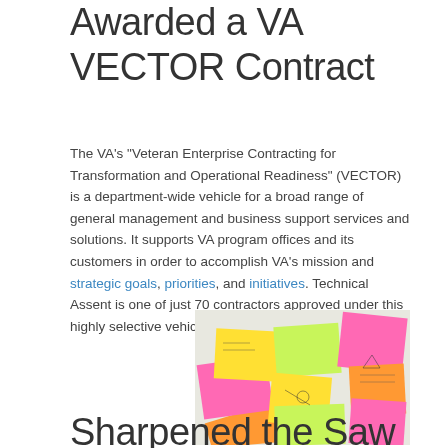Awarded a VA VECTOR Contract
The VA's "Veteran Enterprise Contracting for Transformation and Operational Readiness" (VECTOR) is a department-wide vehicle for a broad range of general management and business support services and solutions. It supports VA program offices and its customers in order to accomplish VA's mission and strategic goals, priorities, and initiatives. Technical Assent is one of just 70 contractors approved under this highly selective vehicle.
[Figure (photo): Colorful sticky notes (pink, yellow, green, orange) spread out on a white surface, with handwritten notes and sketches on them.]
Sharpened the Saw